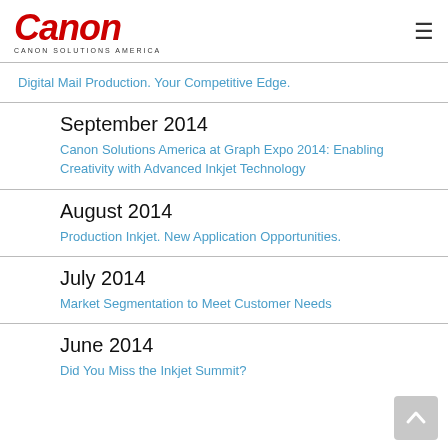Canon — CANON SOLUTIONS AMERICA
Digital Mail Production. Your Competitive Edge.
September 2014
Canon Solutions America at Graph Expo 2014: Enabling Creativity with Advanced Inkjet Technology
August 2014
Production Inkjet. New Application Opportunities.
July 2014
Market Segmentation to Meet Customer Needs
June 2014
Did You Miss the Inkjet Summit?